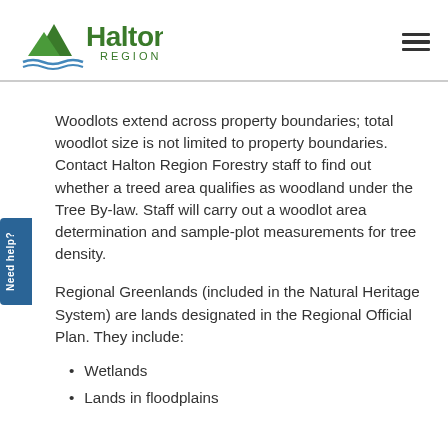Halton Region
Woodlots extend across property boundaries; total woodlot size is not limited to property boundaries. Contact Halton Region Forestry staff to find out whether a treed area qualifies as woodland under the Tree By-law. Staff will carry out a woodlot area determination and sample-plot measurements for tree density.
Regional Greenlands (included in the Natural Heritage System) are lands designated in the Regional Official Plan. They include:
Wetlands
Lands in floodplains